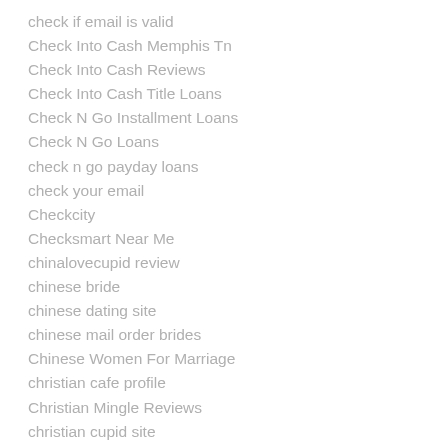check if email is valid
Check Into Cash Memphis Tn
Check Into Cash Reviews
Check Into Cash Title Loans
Check N Go Installment Loans
Check N Go Loans
check n go payday loans
check your email
Checkcity
Checksmart Near Me
chinalovecupid review
chinese bride
chinese dating site
chinese mail order brides
Chinese Women For Marriage
christian cafe profile
Christian Mingle Reviews
christian cupid site